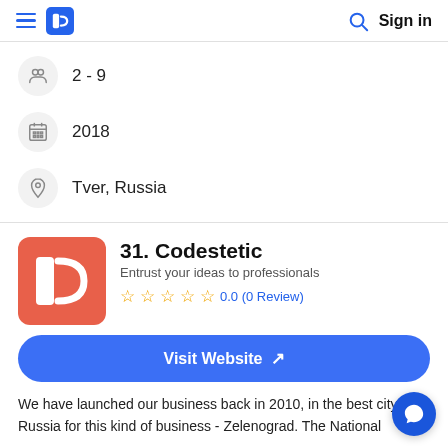Sign in
2 - 9
2018
Tver, Russia
31. Codestetic
Entrust your ideas to professionals
0.0 (0 Review)
Visit Website ↗
We have launched our business back in 2010, in the best city in Russia for this kind of business - Zelenograd. The National